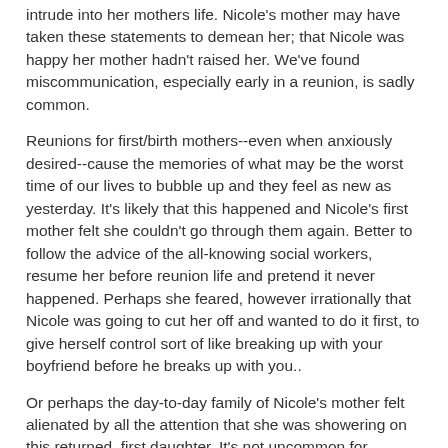intrude into her mothers life. Nicole's mother may have taken these statements to demean her; that Nicole was happy her mother hadn't raised her. We've found miscommunication, especially early in a reunion, is sadly common.
Reunions for first/birth mothers--even when anxiously desired--cause the memories of what may be the worst time of our lives to bubble up and they feel as new as yesterday. It's likely that this happened and Nicole's first mother felt she couldn't go through them again. Better to follow the advice of the all-knowing social workers, resume her before reunion life and pretend it never  happened. Perhaps she feared, however irrationally that Nicole was going to cut her off and wanted to do it first, to give herself control sort of like breaking up with your boyfriend before he breaks up with you..
Or perhaps the day-to-day family of Nicole's mother felt alienated by all the attention that she was showering on this returned, first daughter. It's not uncommon for siblings of the reunited son or daughter to feel cast aside and diminished when the new child in the mother's life emerges. How come